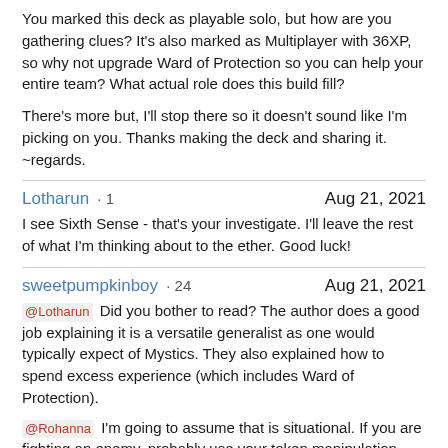You marked this deck as playable solo, but how are you gathering clues? It's also marked as Multiplayer with 36XP, so why not upgrade Ward of Protection so you can help your entire team? What actual role does this build fill?
There's more but, I'll stop there so it doesn't sound like I'm picking on you. Thanks making the deck and sharing it.
~regards.
Lotharun · 1   Aug 21, 2021
I see Sixth Sense - that's your investigate. I'll leave the rest of what I'm thinking about to the ether. Good luck!
sweetpumpkinboy · 24   Aug 21, 2021
@Lotharun Did you bother to read? The author does a good job explaining it is a versatile generalist as one would typically expect of Mystics. They also explained how to spend excess experience (which includes Ward of Protection).
@Rohanna I'm going to assume that is situational. If you are fighting an enemy, probably use your token manipulation effects earlier because you kill enemies faster and swap to